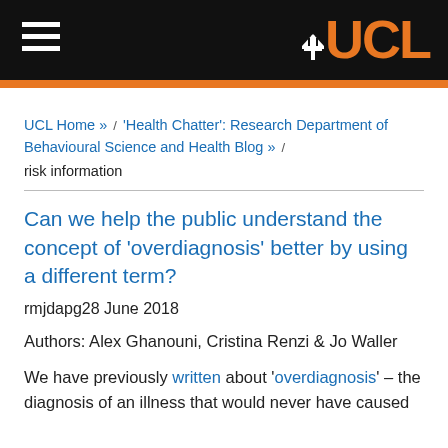UCL (logo and navigation header)
UCL Home »  /  'Health Chatter': Research Department of Behavioural Science and Health Blog »  /  risk information
Can we help the public understand the concept of 'overdiagnosis' better by using a different term?
rmjdapg28 June 2018
Authors: Alex Ghanouni, Cristina Renzi & Jo Waller
We have previously written about 'overdiagnosis' – the diagnosis of an illness that would never have caused